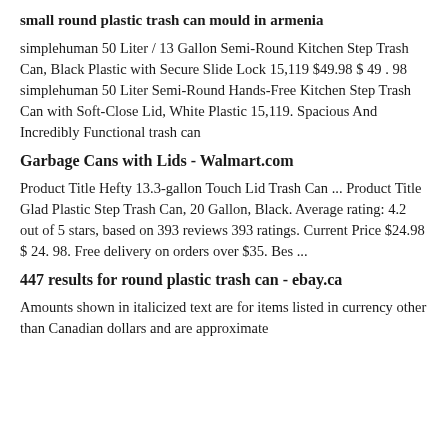small round plastic trash can mould in armenia
simplehuman 50 Liter / 13 Gallon Semi-Round Kitchen Step Trash Can, Black Plastic with Secure Slide Lock 15,119 $49.98 $ 49 . 98 simplehuman 50 Liter Semi-Round Hands-Free Kitchen Step Trash Can with Soft-Close Lid, White Plastic 15,119. Spacious And Incredibly Functional trash can
Garbage Cans with Lids - Walmart.com
Product Title Hefty 13.3-gallon Touch Lid Trash Can ... Product Title Glad Plastic Step Trash Can, 20 Gallon, Black. Average rating: 4.2 out of 5 stars, based on 393 reviews 393 ratings. Current Price $24.98 $ 24. 98. Free delivery on orders over $35. Bes ...
447 results for round plastic trash can - ebay.ca
Amounts shown in italicized text are for items listed in currency other than Canadian dollars and are approximate